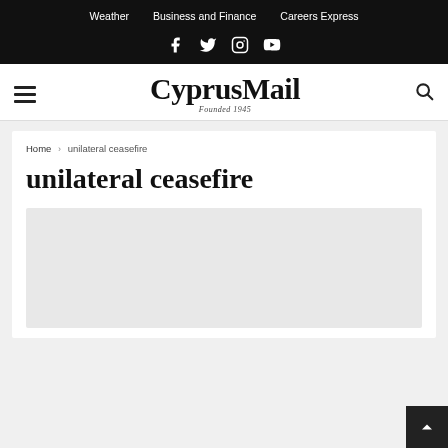Weather | Business and Finance | Careers Express
[Figure (logo): CyprusMail newspaper logo with 'Founded 1945' tagline]
Home › unilateral ceasefire
unilateral ceasefire
[Figure (other): Article image placeholder (light grey rectangle)]